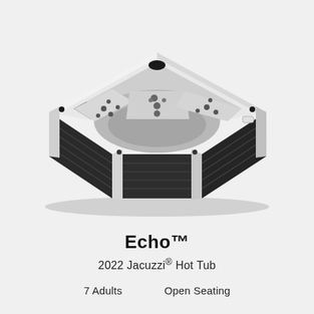[Figure (photo): Isometric view of a white and dark-skirted square hot tub (Jacuzzi Echo) with multiple jets visible on the interior shell, and dark horizontal panel siding on the exterior cabinet.]
Echo™
2022 Jacuzzi® Hot Tub
7 Adults    Open Seating